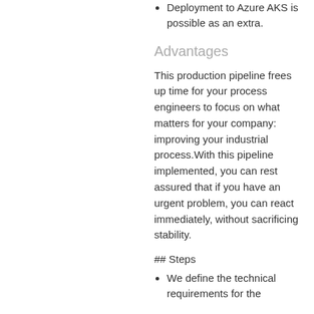Deployment to Azure AKS is possible as an extra.
Advantages
This production pipeline frees up time for your process engineers to focus on what matters for your company: improving your industrial process.With this pipeline implemented, you can rest assured that if you have an urgent problem, you can react immediately, without sacrificing stability.
## Steps
We define the technical requirements for the